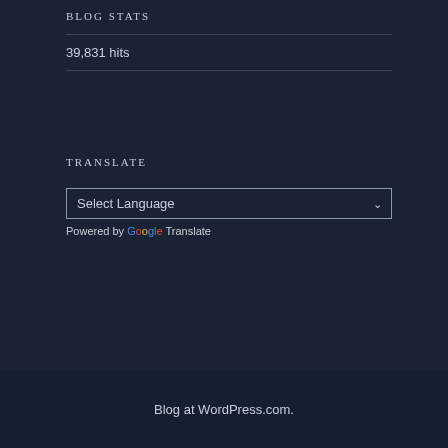BLOG STATS
39,831 hits
TRANSLATE
Select Language
Powered by Google Translate
Blog at WordPress.com.